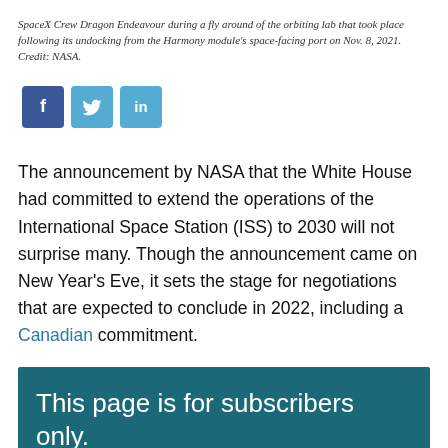SpaceX Crew Dragon Endeavour during a fly around of the orbiting lab that took place following its undocking from the Harmony module's space-facing port on Nov. 8, 2021. Credit: NASA.
[Figure (other): Social media share buttons: Facebook (blue), Twitter (light blue), LinkedIn (light blue)]
The announcement by NASA that the White House had committed to extend the operations of the International Space Station (ISS) to 2030 will not surprise many. Though the announcement came on New Year's Eve, it sets the stage for negotiations that are expected to conclude in 2022, including a Canadian commitment.
This page is for subscribers only. Already a subscriber? Log in